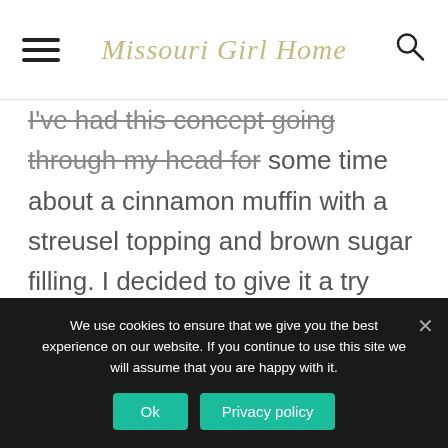Missouri Girl Home
I've had this concept going through my head for some time about a cinnamon muffin with a streusel topping and brown sugar filling. I decided to give it a try and...
We use cookies to ensure that we give you the best experience on our website. If you continue to use this site we will assume that you are happy with it. Ok  Privacy policy